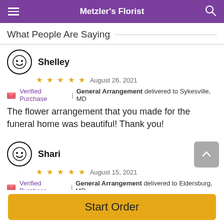Metzler's Florist
What People Are Saying
Shelley
★★★★★  August 26, 2021
🌸 Verified Purchase | General Arrangement delivered to Sykesville, MD
The flower arrangement that you made for the funeral home was beautiful! Thank you!
Shari
★★★★★  August 15, 2021
🌸 Verified Purchase | General Arrangement delivered to Eldersburg, MD
Start Order